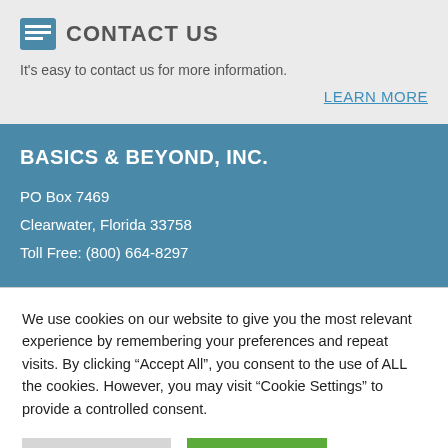CONTACT US
It's easy to contact us for more information.
LEARN MORE
BASICS & BEYOND, INC.
PO Box 7469
Clearwater, Florida 33758
Toll Free: (800) 664-8297
We use cookies on our website to give you the most relevant experience by remembering your preferences and repeat visits. By clicking “Accept All”, you consent to the use of ALL the cookies. However, you may visit “Cookie Settings” to provide a controlled consent.
Cookie Settings
Accept All